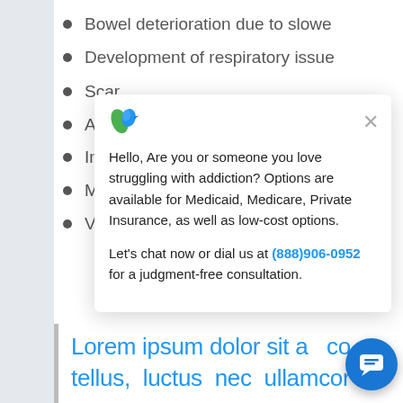Bowel deterioration due to slowe…
Development of respiratory issue… pne…
Scar… n i…
Anxie…
Inso…
Malr…
Viole…
[Figure (screenshot): Chat popup overlay from addiction helpline. Logo with green leaf/bird icon. Text: 'Hello, Are you or someone you love struggling with addiction? Options are available for Medicaid, Medicare, Private Insurance, as well as low-cost options. Let's chat now or dial us at (888)906-0952 for a judgment-free consultation.' Close button (×) in top right.]
Lorem ipsum dolor sit a… co tellus, luctus nec ullamcor…